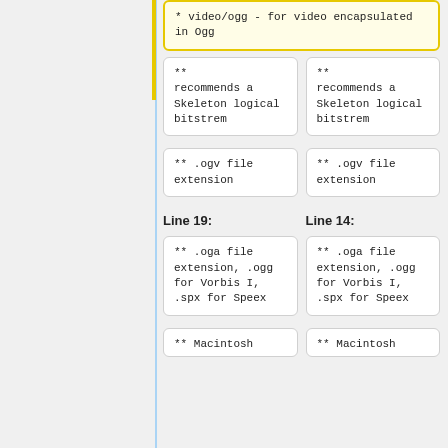* video/ogg - for video encapsulated in Ogg
** recommends a Skeleton logical bitstrem
** recommends a Skeleton logical bitstrem
** .ogv file extension
** .ogv file extension
Line 19:
Line 14:
** .oga file extension, .ogg for Vorbis I, .spx for Speex
** .oga file extension, .ogg for Vorbis I, .spx for Speex
** Macintosh
** Macintosh